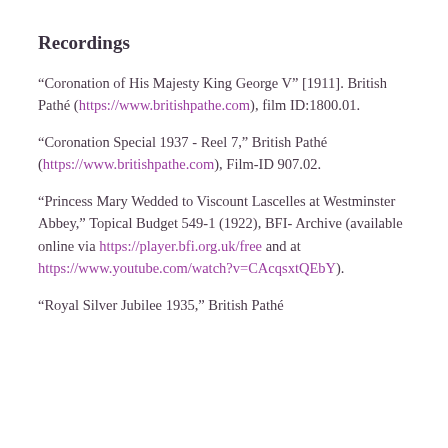Recordings
“Coronation of His Majesty King George V” [1911]. British Pathé (https://www.britishpathe.com), film ID:1800.01.
“Coronation Special 1937 - Reel 7,” British Pathé (https://www.britishpathe.com), Film-ID 907.02.
“Princess Mary Wedded to Viscount Lascelles at Westminster Abbey,” Topical Budget 549-1 (1922), BFI- Archive (available online via https://player.bfi.org.uk/free and at https://www.youtube.com/watch?v=CAcqsxtQEbY).
“Royal Silver Jubilee 1935,” British Pathé